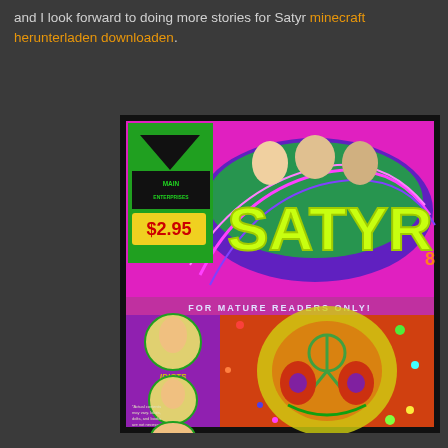and I look forward to doing more stories for Satyr minecraft herunterladen downloaden.
[Figure (illustration): Comic book cover for 'Satyr' issue 8, published by Main Enterprises, priced $2.95, for mature readers only. The cover features psychedelic artwork with a large smiling face with a peace symbol, swirling colors. Left sidebar shows circular character medallions labeled IDIOTS, DOLTS, BOOBS with small print disclaimer text at bottom.]